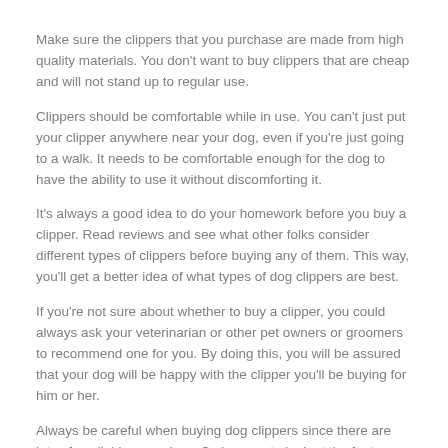Make sure the clippers that you purchase are made from high quality materials. You don't want to buy clippers that are cheap and will not stand up to regular use.
Clippers should be comfortable while in use. You can't just put your clipper anywhere near your dog, even if you're just going to a walk. It needs to be comfortable enough for the dog to have the ability to use it without discomforting it.
It's always a good idea to do your homework before you buy a clipper. Read reviews and see what other folks consider different types of clippers before buying any of them. This way, you'll get a better idea of what types of dog clippers are best.
If you're not sure about whether to buy a clipper, you could always ask your veterinarian or other pet owners or groomers to recommend one for you. By doing this, you will be assured that your dog will be happy with the clipper you'll be buying for him or her.
Always be careful when buying dog clippers since there are lots of available nowadays. So be sure to look at the features and look at the different types of clippers and find the best one.